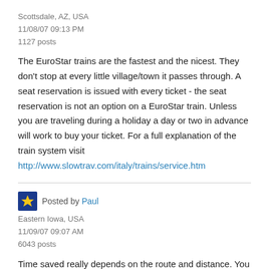Scottsdale, AZ, USA
11/08/07 09:13 PM
1127 posts
The EuroStar trains are the fastest and the nicest. They don't stop at every little village/town it passes through. A seat reservation is issued with every ticket - the seat reservation is not an option on a EuroStar train. Unless you are traveling during a holiday a day or two in advance will work to buy your ticket. For a full explanation of the train system visit http://www.slowtrav.com/italy/trains/service.htm
Posted by Paul
Eastern Iowa, USA
11/09/07 09:07 AM
6043 posts
Time saved really depends on the route and distance. You can look up routes on Trenitalia and compare. For instance, Rome to